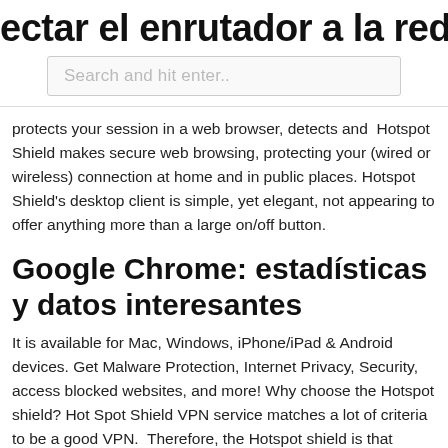ectar el enrutador a la red inalámbric
Search and hit enter..
protects your session in a web browser, detects and  Hotspot Shield makes secure web browsing, protecting your (wired or wireless) connection at home and in public places. Hotspot Shield's desktop client is simple, yet elegant, not appearing to offer anything more than a large on/off button.
Google Chrome: estadísticas y datos interesantes
It is available for Mac, Windows, iPhone/iPad & Android devices. Get Malware Protection, Internet Privacy, Security, access blocked websites, and more! Why choose the Hotspot shield? Hot Spot Shield VPN service matches a lot of criteria to be a good VPN.  Therefore, the Hotspot shield is that particular VPN that offers some of the best services and also has less price concerning other VPNs. Hotspot Shield VPN Proxy is the most trusted security, privacy, and access platform with top performance on speed, stability, and security.